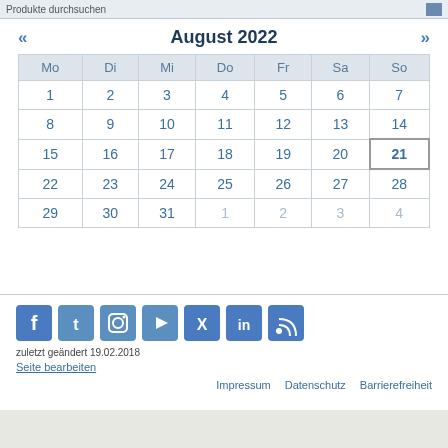Produkte durchsuchen
August 2022
| Mo | Di | Mi | Do | Fr | Sa | So |
| --- | --- | --- | --- | --- | --- | --- |
| 1 | 2 | 3 | 4 | 5 | 6 | 7 |
| 8 | 9 | 10 | 11 | 12 | 13 | 14 |
| 15 | 16 | 17 | 18 | 19 | 20 | 21 |
| 22 | 23 | 24 | 25 | 26 | 27 | 28 |
| 29 | 30 | 31 | 1 | 2 | 3 | 4 |
[Figure (other): Social media icons: Facebook, Twitter, Instagram, YouTube, XING, LinkedIn, RSS]
zuletzt geändert 19.02.2018
Seite bearbeiten
Impressum  Datenschutz  Barrierefreiheit